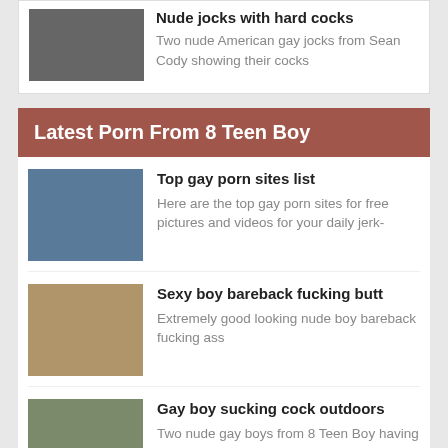[Figure (photo): Thumbnail image of two nude men]
Nude jocks with hard cocks
Two nude American gay jocks from Sean Cody showing their cocks
Latest Porn From 8 Teen Boy
[Figure (photo): Thumbnail collage of gay porn sites]
Top gay porn sites list
Here are the top gay porn sites for free pictures and videos for your daily jerk-
[Figure (photo): Thumbnail of nude boy bareback scene]
Sexy boy bareback fucking butt
Extremely good looking nude boy bareback fucking ass
[Figure (photo): Thumbnail of gay boys outdoors]
Gay boy sucking cock outdoors
Two nude gay boys from 8 Teen Boy having oral sex outdoors
[Figure (photo): Thumbnail of boy sucking cock]
Cute gay boy sucking big cock
Boy with his red underwear pulled down getting his big cock sucked